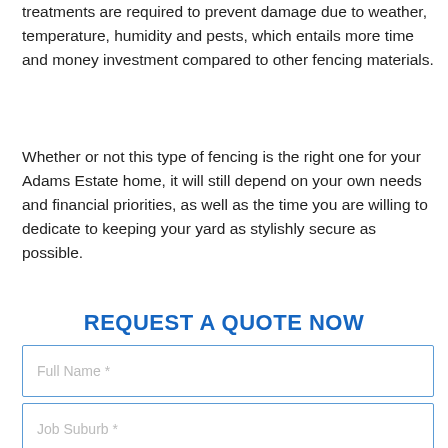treatments are required to prevent damage due to weather, temperature, humidity and pests, which entails more time and money investment compared to other fencing materials.
Whether or not this type of fencing is the right one for your Adams Estate home, it will still depend on your own needs and financial priorities, as well as the time you are willing to dedicate to keeping your yard as stylishly secure as possible.
REQUEST A QUOTE NOW
[Figure (screenshot): Web form with three visible input fields: Full Name *, Job Suburb *, Email *, and a partially visible fourth field. A chat bubble with message icon and a video camera icon overlay the bottom-right corner, with Privacy · Terms text.]